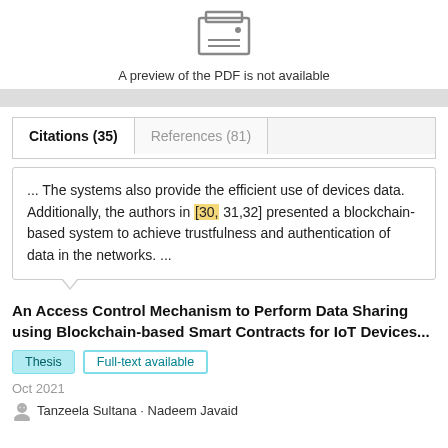[Figure (illustration): PDF not available icon — a stylized printer/document icon in outline style]
A preview of the PDF is not available
Citations (35)   References (81)
... The systems also provide the efficient use of devices data. Additionally, the authors in [30, 31,32] presented a blockchain-based system to achieve trustfulness and authentication of data in the networks. ...
An Access Control Mechanism to Perform Data Sharing using Blockchain-based Smart Contracts for IoT Devices...
Thesis   Full-text available
Oct 2021
Tanzeela Sultana · Nadeem Javaid